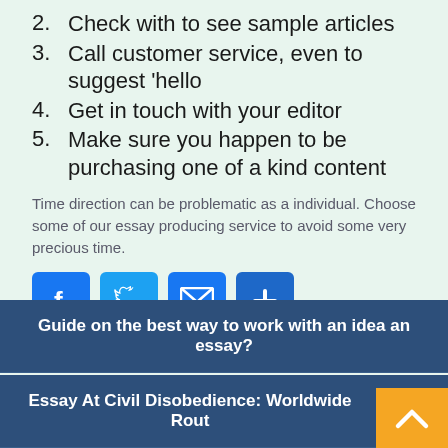2. Check with to see sample articles
3. Call customer service, even to suggest 'hello
4. Get in touch with your editor
5. Make sure you happen to be purchasing one of a kind content
Time direction can be problematic as a individual. Choose some of our essay producing service to avoid some very precious time.
[Figure (infographic): Social sharing buttons: Facebook (blue), Twitter (light blue), Email (blue envelope), Plus/share (dark blue)]
Blog
Guide on the best way to work with an idea an essay?
Essay At Civil Disobedience: Worldwide Rout